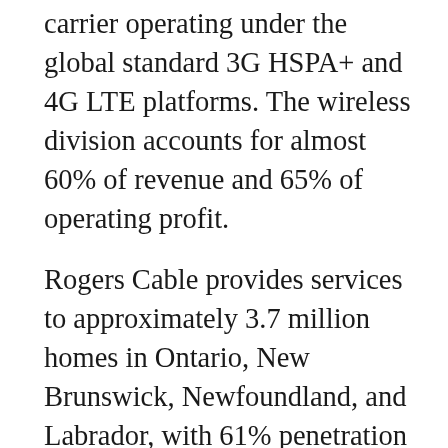carrier operating under the global standard 3G HSPA+ and 4G LTE platforms. The wireless division accounts for almost 60% of revenue and 65% of operating profit.
Rogers Cable provides services to approximately 3.7 million homes in Ontario, New Brunswick, Newfoundland, and Labrador, with 61% penetration of the homes that it passes. Rogers Cable accounts for 27% of revenue and 34.5% of operating profit.
Rogers Media is Canada's premier combination of category-leading radio and television broadcasting, televised shopping, sports entertainment, publishing, and